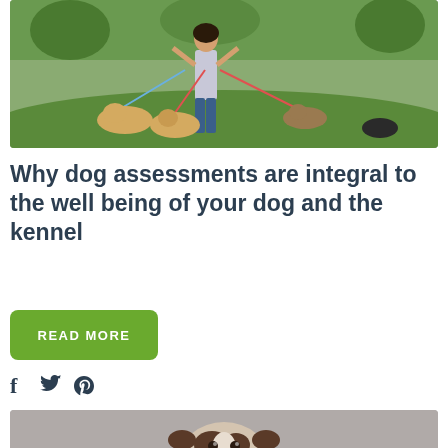[Figure (photo): Woman walking multiple dogs on leashes in a grassy field outdoors]
Why dog assessments are integral to the well being of your dog and the kennel
READ MORE
[Figure (photo): Close-up of a bulldog puppy looking up from a gray surface]